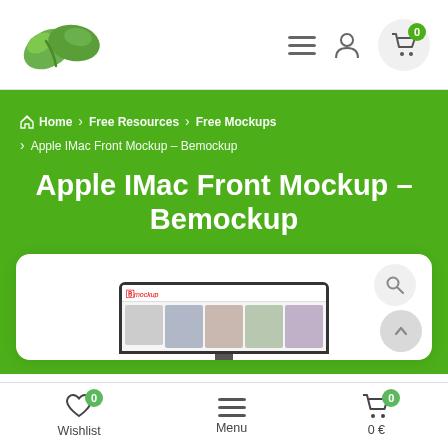[Figure (logo): Green leaf logo (two overlapping leaves)]
[Figure (illustration): Header navigation icons: hamburger menu, user account, shopping cart with badge 0]
Home > Free Resources > Free Mockups > Apple IMac Front Mockup – Bemockup
Apple IMac Front Mockup – Bemockup
[Figure (screenshot): Product card showing an Apple iMac front mockup preview with a Bemockup website screenshot on screen, search icon and scroll-to-top button]
Wishlist 0   Menu   0 € 0